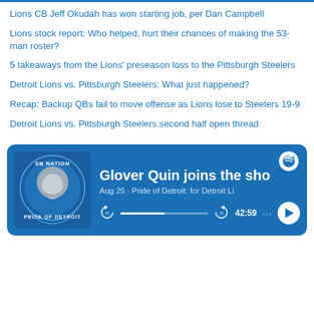Lions CB Jeff Okudah has won starting job, per Dan Campbell
Lions stock report: Who helped, hurt their chances of making the 53-man roster?
5 takeaways from the Lions' preseason loss to the Pittsburgh Steelers
Detroit Lions vs. Pittsburgh Steelers: What just happened?
Recap: Backup QBs fail to move offense as Lions lose to Steelers 19-9
Detroit Lions vs. Pittsburgh Steelers second half open thread
[Figure (screenshot): Spotify podcast card showing SB Nation Pride of Detroit logo, episode title 'Glover Quin joins the show', date Aug 25, podcast name 'Pride of Detroit: for Detroit Li...', playback time 42:59, with player controls (rewind 15, progress bar, forward 15, time, more options, play button)]